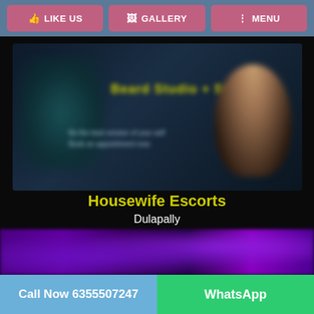LIKE US | GALLERY | MENU
[Figure (photo): Blurred banner image with teal decorative element on left, blurred yellow/gold text in center, and a blurred silhouette of a person on the right, against a dark blue background]
Housewife Escorts
Dulapally
[Figure (photo): Blurred strip of purple/violet toned background image at the bottom of the main content area]
Call Now 6355507247 | WhatsApp